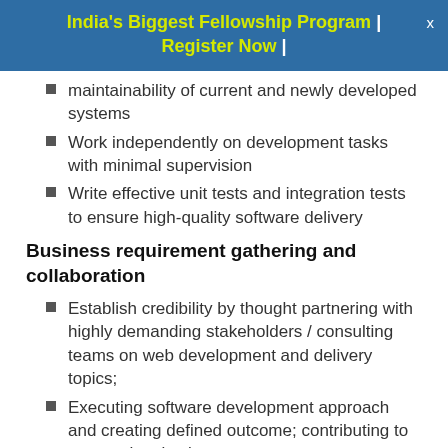India's Biggest Fellowship Program | Register Now |
maintainability of current and newly developed systems
Work independently on development tasks with minimal supervision
Write effective unit tests and integration tests to ensure high-quality software delivery
Business requirement gathering and collaboration
Establish credibility by thought partnering with highly demanding stakeholders / consulting teams on web development and delivery topics;
Executing software development approach and creating defined outcome; contributing to approach selection
Assuring proper sign-off before uploading